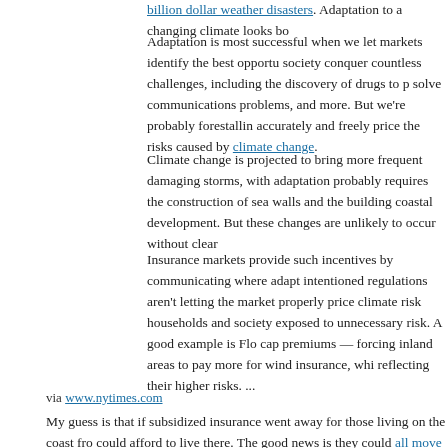billion dollar weather disasters. Adaptation to a changing climate looks bo
Adaptation is most successful when we let markets identify the best opportu society conquer countless challenges, including the discovery of drugs to p solve communications problems, and more. But we're probably forestalling accurately and freely price the risks caused by climate change.
Climate change is projected to bring more frequent damaging storms, with adaptation probably requires the construction of sea walls and the building coastal development. But these changes are unlikely to occur without clear
Insurance markets provide such incentives by communicating where adapt intentioned regulations aren't letting the market properly price climate risk households and society exposed to unnecessary risk. A good example is Fl cap premiums — forcing inland areas to pay more for wind insurance, whi reflecting their higher risks. ...
via www.nytimes.com
My guess is that if subsidized insurance went away for those living on the coast fro could afford to live there. The good news is they could all move to Montana, creat
Posted by John Whitehead on July 25, 2016 at 08:03 AM in Climate Change, Natural Ha
Reblog (0)
Tweet
July 23, 2016
"Trump and Coal Jobs"